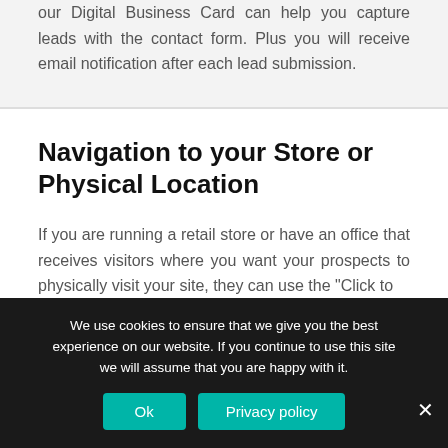our Digital Business Card can help you capture leads with the contact form. Plus you will receive email notification after each lead submission.
Navigation to your Store or Physical Location
If you are running a retail store or have an office that receives visitors where you want your prospects to physically visit your site, they can use the "Click to
We use cookies to ensure that we give you the best experience on our website. If you continue to use this site we will assume that you are happy with it.